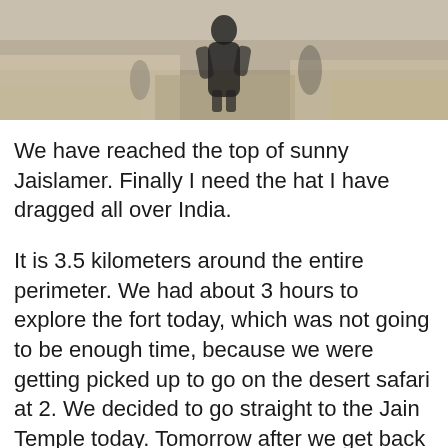[Figure (photo): A person standing on stone steps or wall at what appears to be Jaisalmer Fort, India. The figure is seen from a distance against sandy stone architecture.]
We have reached the top of sunny Jaislamer. Finally I need the hat I have dragged all over India.
It is 3.5 kilometers around the entire perimeter. We had about 3 hours to explore the fort today, which was not going to be enough time, because we were getting picked up to go on the desert safari at 2. We decided to go straight to the Jain Temple today. Tomorrow after we get back we will explore the fort more.